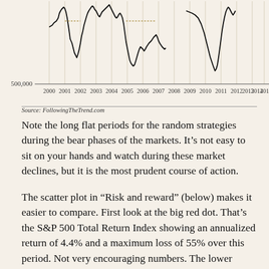[Figure (continuous-plot): Time series line chart showing financial data from 2000 to 2015. The y-axis shows a value of 500,000 at the bottom. Black jagged lines show price/equity movements with a sharp drop around 2002-2003, recovery to 2007, a large crash around 2008-2009, and partial recovery afterward. A smaller line appears in the upper right portion (around 2009-2010) showing a sharp V-shaped drop and recovery.]
Source: FollowingTheTrend.com
Note the long flat periods for the random strategies during the bear phases of the markets. It’s not easy to sit on your hands and watch during these market declines, but it is the most prudent course of action.
The scatter plot in “Risk and reward” (below) makes it easier to compare. First look at the big red dot. That’s the S&P 500 Total Return Index showing an annualized return of 4.4% and a maximum loss of 55% over this period. Not very encouraging numbers. The lower cluster of green triangles shows the result of the random strategy without any trend filter. It’s quite a